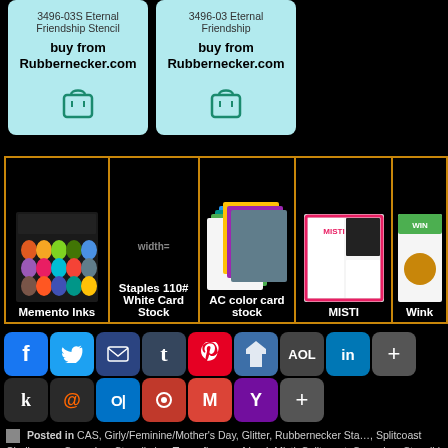[Figure (other): Two product cards with light blue background. Left card: '3496-03S Eternal Friendship Stencil' with buy from Rubbernecker.com and shopping bag icon. Right card: '3496-03 Eternal Friendship' with buy from Rubbernecker.com and shopping bag icon.]
[Figure (other): A row of product images in an orange-bordered table: Memento Inks (ink pads photo), width= placeholder image for Staples 110# White Card Stock, AC color card stock (colorful card stack photo), MISTI (stamping tool photo), and a partially visible 5th product (Wink...).]
[Figure (other): Social sharing buttons: Facebook (blue), Twitter (blue), Email (dark blue), Tumblr (indigo), Pinterest (red), Pinboard (blue), AOL (dark), LinkedIn (blue), Google+ (dark), Kik (white/dark), @mention (dark/orange), Outlook (blue/dark), other icon, Gmail (red), Yahoo (purple), Add (dark gray)]
Posted in CAS, Girly/Feminine/Mother's Day, Glitter, Rubbernecker Sta…, Splitcoast Challenges, Sponging, Stencils | Tags: flowers, friend, Misti, Splitcoast, Sponging, Stencil | No Comments »